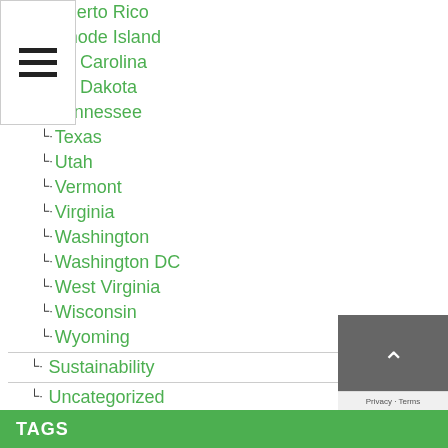Puerto Rico
Rhode Island
South Carolina
South Dakota
Tennessee
Texas
Utah
Vermont
Virginia
Washington
Washington DC
West Virginia
Wisconsin
Wyoming
Sustainability
Uncategorized
What You Can Do
2018 Election
2020 Election
2022 Election
QUOTE OF THE WEEK
TAGS